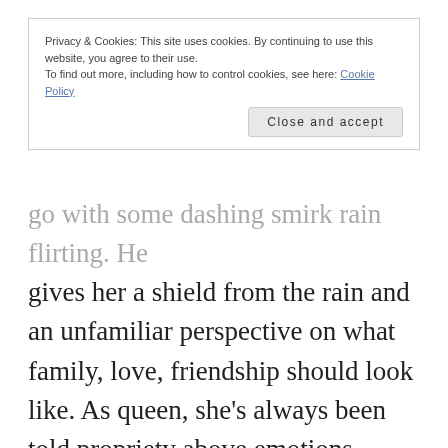Privacy & Cookies: This site uses cookies. By continuing to use this website, you agree to their use.
To find out more, including how to control cookies, see here: Cookie Policy
Close and accept
go with some dashing smirk rain flirting. He gives her a shield from the rain and an unfamiliar perspective on what family, love, friendship should look like. As queen, she's always been told propriety above emotions. Talyien, bitch queen and wit princess only ever desired a roll in the dirt. Even in marriage, her relationship to her prince suffered from rules of propriety. True verbal communications of love got lost in the intense politics of their families expectations